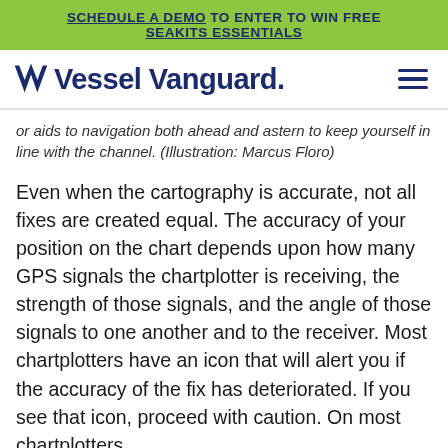SCHEDULE A DEMO TO ENTER TO WIN FREE SEAKITS ESSENTIALS
[Figure (logo): Vessel Vanguard logo with V checkmark icon and hamburger menu icon]
or aids to navigation both ahead and astern to keep yourself in line with the channel. (Illustration: Marcus Floro)
Even when the cartography is accurate, not all fixes are created equal. The accuracy of your position on the chart depends upon how many GPS signals the chartplotter is receiving, the strength of those signals, and the angle of those signals to one another and to the receiver. Most chartplotters have an icon that will alert you if the accuracy of the fix has deteriorated. If you see that icon, proceed with caution. On most chartplotters